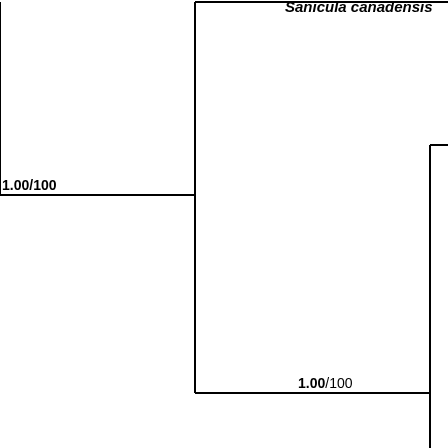[Figure (other): Partial phylogenetic tree showing cladogram branches with bootstrap/posterior probability support values. Visible label: Sanicula canadensis (in italics) at top right. Support values: 1.00/100 at left branch node and 1.00/100 at right branch node. Tree branches are shown as horizontal and vertical lines forming a cladogram layout, cropped on multiple sides.]